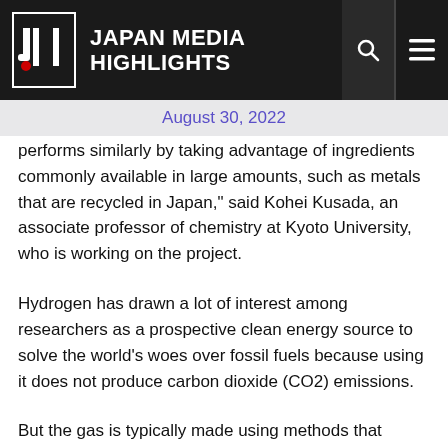JMH JAPAN MEDIA HIGHLIGHTS
August 30, 2022
performs similarly by taking advantage of ingredients commonly available in large amounts, such as metals that are recycled in Japan," said Kohei Kusada, an associate professor of chemistry at Kyoto University, who is working on the project.
Hydrogen has drawn a lot of interest among researchers as a prospective clean energy source to solve the world's woes over fossil fuels because using it does not produce carbon dioxide (CO2) emissions.
But the gas is typically made using methods that discharge CO2, through heating natural gas, petroleum and other fossil fuels.
Kusada and his colleagues have been studying a technique called water electrolysis that uses electricity derived from